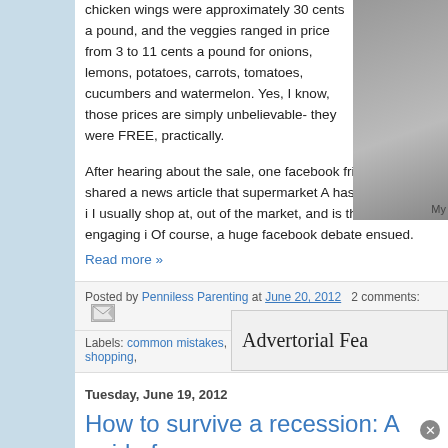chicken wings were approximately 30 cents a pound, and the veggies ranged in price from 3 to 11 cents a pound for onions, lemons, potatoes, carrots, tomatoes, cucumbers and watermelon. Yes, I know, those prices are simply unbelievable- they were FREE, practically.
[Figure (photo): Sidebar photo with label 'My']
After hearing about the sale, one facebook friend of mine shared a news article that supermarket A has stated that i I usually shop at, out of the market, and is therefore engaging i Of course, a huge facebook debate ensued.
Read more »
Posted by Penniless Parenting at June 20, 2012   2 comments:
Labels: common mistakes, controversial, extreme frugality, frugal shopping,
Tuesday, June 19, 2012
How to survive a recession: A guide fo
[Figure (other): Advertorial Feature box]
This is a guest post.